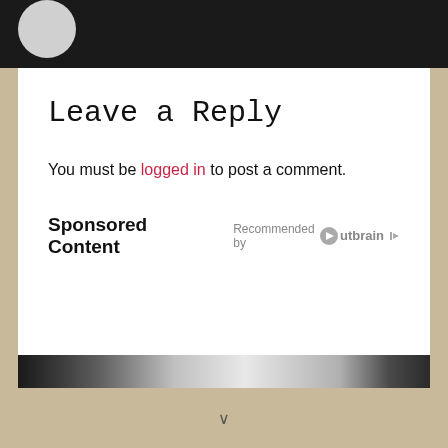[Figure (photo): Dark navigation bar at top with a circular grey avatar/profile image partially visible at top left]
Leave a Reply
You must be logged in to post a comment.
Sponsored Content  Recommended by Outbrain
[Figure (photo): Partial view of a sponsored content image showing dark objects on a light surface]